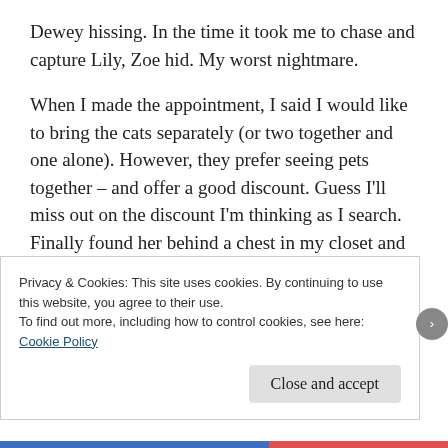Dewey hissing. In the time it took me to chase and capture Lily, Zoe hid. My worst nightmare.
When I made the appointment, I said I would like to bring the cats separately (or two together and one alone). However, they prefer seeing pets together – and offer a good discount. Guess I'll miss out on the discount I'm thinking as I search. Finally found her behind a chest in my closet and like a mother lifting a car off her kid, I called on my super-human strength to pull the chest and grab that little brat.
Privacy & Cookies: This site uses cookies. By continuing to use this website, you agree to their use.
To find out more, including how to control cookies, see here: Cookie Policy